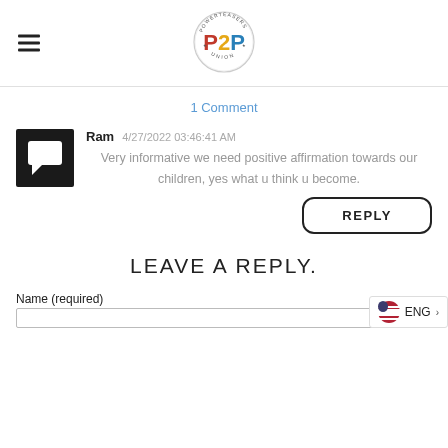[Figure (logo): P2P Union logo — circular badge with 'P2P' in large colored letters (P in red, 2 in gold, P in blue) and 'POWERTEASERS UNION' text around the ring]
1 Comment
[Figure (illustration): Black square avatar icon with white speech bubble / comment icon]
Ram    4/27/2022 03:46:41 AM
Very informative we need positive affirmation towards our children, yes what u think u become.
REPLY
LEAVE A REPLY.
Name (required)